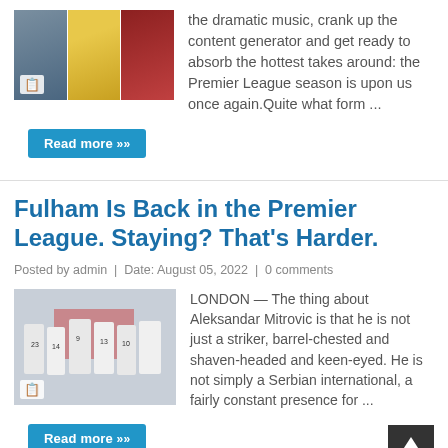[Figure (photo): Sports photo collage with three panels: players in gray/blue, a player in yellow jersey with a ball, and a player in red jersey]
the dramatic music, crank up the content generator and get ready to absorb the hottest takes around: the Premier League season is upon us once again.Quite what form ...
Read more »
Fulham Is Back in the Premier League. Staying? That's Harder.
Posted by admin  |  Date: August 05, 2022  |  0 comments
[Figure (photo): Fulham football team players in white jerseys huddled together on the pitch, numbers 23, 14, 9, 13, 10 visible]
LONDON — The thing about Aleksandar Mitrovic is that he is not just a striker, barrel-chested and shaven-headed and keen-eyed. He is not simply a Serbian international, a fairly constant presence for ...
Read more »